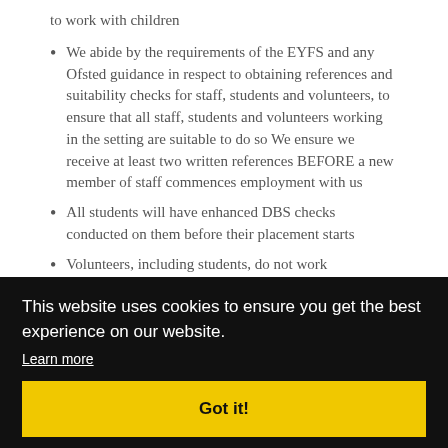to work with children
We abide by the requirements of the EYFS and any Ofsted guidance in respect to obtaining references and suitability checks for staff, students and volunteers, to ensure that all staff, students and volunteers working in the setting are suitable to do so We ensure we receive at least two written references BEFORE a new member of staff commences employment with us
All students will have enhanced DBS checks conducted on them before their placement starts
Volunteers, including students, do not work unsupervised
...rable ...any ...issed ...d ...n ...o the ...l over who comes into the nursery, so that no unauthorised person has
[Figure (screenshot): Cookie consent banner overlay with black background. Text reads: 'This website uses cookies to ensure you get the best experience on our website.' with a 'Learn more' link and a yellow 'Got it!' button.]